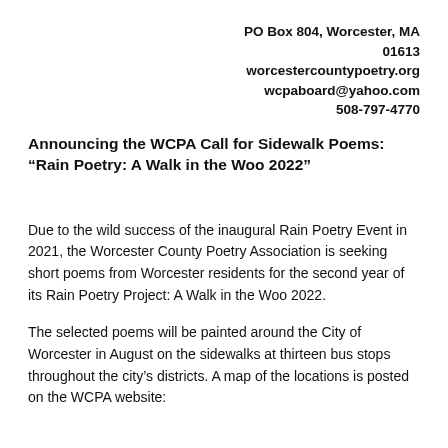PO Box 804, Worcester, MA 01613
worcestercountypoetry.org
wcpaboard@yahoo.com
508-797-4770
Announcing the WCPA Call for Sidewalk Poems: “Rain Poetry: A Walk in the Woo 2022”
Due to the wild success of the inaugural Rain Poetry Event in 2021, the Worcester County Poetry Association is seeking short poems from Worcester residents for the second year of its Rain Poetry Project: A Walk in the Woo 2022.
The selected poems will be painted around the City of Worcester in August on the sidewalks at thirteen bus stops throughout the city’s districts. A map of the locations is posted on the WCPA website: